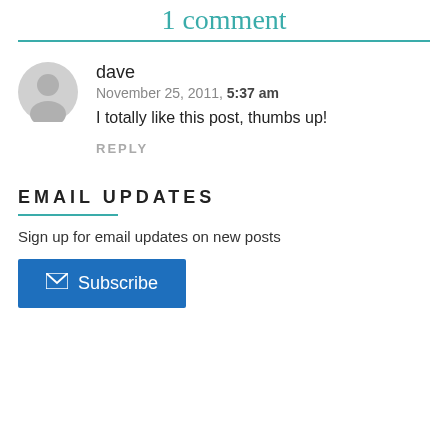1 comment
dave
November 25, 2011, 5:37 am
I totally like this post, thumbs up!
REPLY
EMAIL UPDATES
Sign up for email updates on new posts
Subscribe